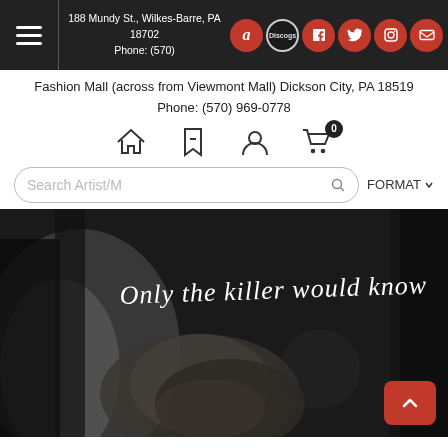188 Mundy St., Wilkes-Barre, PA 18702 | Phone: (570) [partial] | Fashion Mall (across from Viewmont Mall) Dickson City, PA 18519 | Phone: (570) 969-0778
Fashion Mall (across from Viewmont Mall) Dickson City, PA 18519
Phone: (570) 969-0778
[Figure (screenshot): Navigation icon row with home, bookmark, user profile, and shopping cart (badge showing 0) icons]
[Figure (screenshot): Search bar with placeholder text 'Search Artist/M', search icon, and FORMAT dropdown button]
[Figure (photo): Black and white photo of a person with curly hair in shadow with text overlay reading 'Only the killer would know' in handwritten white script. A red scroll-up arrow button appears in bottom right.]